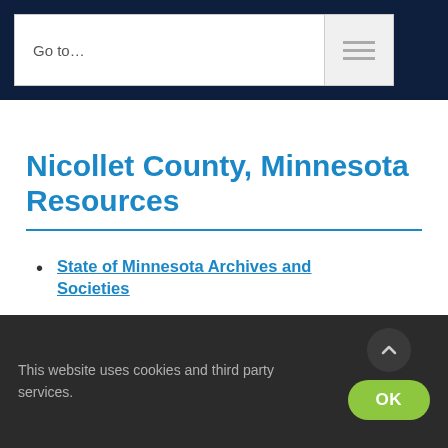Go to...
Nicollet County, Minnesota Resources
State of Minnesota Archives and Societies
RAOGK Volunteers for Minnesota
Nicollet County Historical Society
This website uses cookies and third party services.